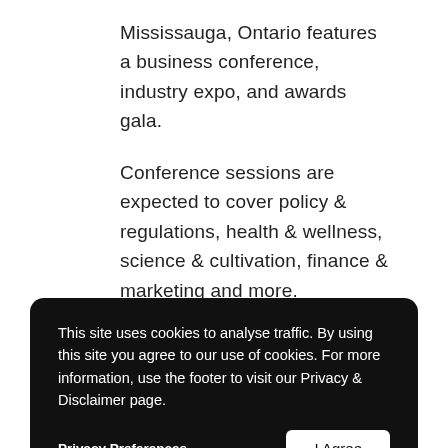Mississauga, Ontario features a business conference, industry expo, and awards gala.
Conference sessions are expected to cover policy & regulations, health & wellness, science & cultivation, finance & marketing and more.
The producers of O' Cannabiz have decades of experience producing
This site uses cookies to analyse traffic. By using this site you agree to our use of cookies. For more information, use the footer to visit our Privacy & Disclaimer page.
Privacy Preferences
I Agree
trade summit initiatives with